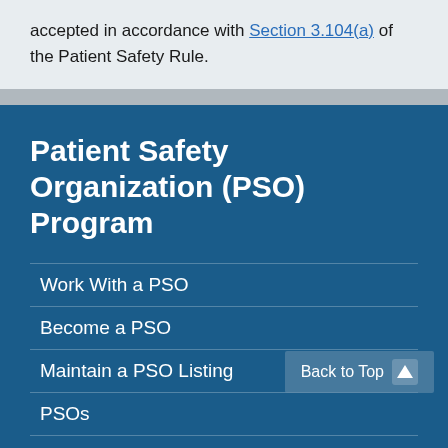accepted in accordance with Section 3.104(a) of the Patient Safety Rule.
Patient Safety Organization (PSO) Program
Work With a PSO
Become a PSO
Maintain a PSO Listing
PSOs
Common Formats